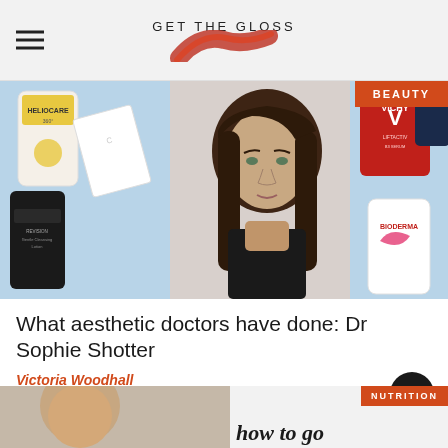GET THE GLOSS
[Figure (photo): Composite image: left side shows beauty products including Heliocare sunscreen and Revision Skincare cleansing lotion on blue background; center shows portrait of Dr Sophie Shotter, a woman with long brown hair; right side shows Vichy Liftactiv serum and Bioderma products on blue background. Orange BEAUTY badge in top-right corner.]
What aesthetic doctors have done: Dr Sophie Shotter
Victoria Woodhall
[Figure (photo): Partial view of a second article card at the bottom of the page with NUTRITION badge and text 'how to go']